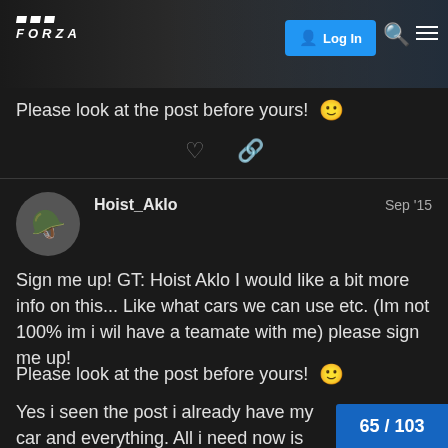[Figure (screenshot): Forza forum website header with logo, Log In button, search and menu icons, with car imagery in background]
Please look at the post before yours! 🙂
Hoist_Aklo  Sep '15
Sign me up! GT: Hoist Aklo I would like a bit more info on this... Like what cars we can use etc. (Im not 100% im i wil have a teamate with me) please sign me up!
Please look at the post before yours! 🙂
Yes i seen the post i already have my car and everything. All i need now is a teamate and a livery... Does a certain number on ur car m (What if someone else has the number tha
65 / 103